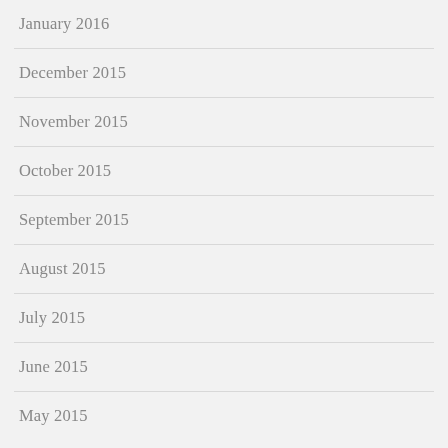January 2016
December 2015
November 2015
October 2015
September 2015
August 2015
July 2015
June 2015
May 2015